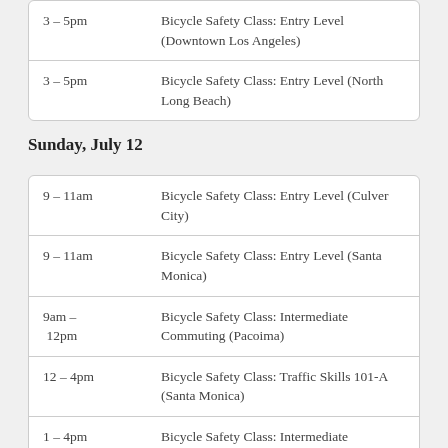| Time | Event |
| --- | --- |
| 3 – 5pm | Bicycle Safety Class: Entry Level (Downtown Los Angeles) |
| 3 – 5pm | Bicycle Safety Class: Entry Level (North Long Beach) |
Sunday, July 12
| Time | Event |
| --- | --- |
| 9 – 11am | Bicycle Safety Class: Entry Level (Culver City) |
| 9 – 11am | Bicycle Safety Class: Entry Level (Santa Monica) |
| 9am – 12pm | Bicycle Safety Class: Intermediate Commuting (Pacoima) |
| 12 – 4pm | Bicycle Safety Class: Traffic Skills 101-A (Santa Monica) |
| 1 – 4pm | Bicycle Safety Class: Intermediate Commuting (North Hills) |
| 2 – 4pm | Bicycle Safety Class: Entry Level (...) |